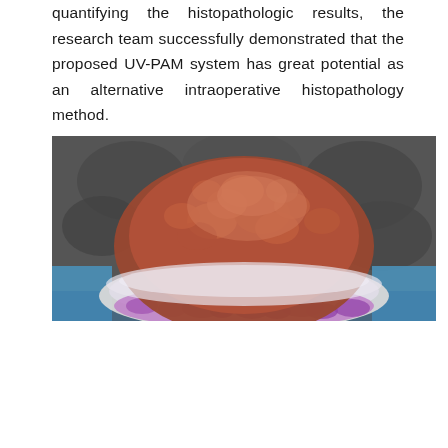quantifying the histopathologic results, the research team successfully demonstrated that the proposed UV-PAM system has great potential as an alternative intraoperative histopathology method.
[Figure (photo): Photograph of a biological tissue specimen showing a rounded, textured mass with reddish-brown coloration on top, transitioning to a white/translucent region in the middle, and a purple-stained lower portion visible against a gray and blue background.]